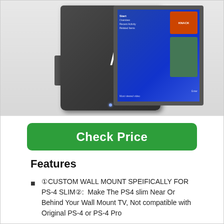[Figure (photo): Product photo showing a PS4 Slim console mounted on a wall bracket next to a TV displaying the PS4 user interface]
Check Price
Features
❶CUSTOM WALL MOUNT SPEIFICALLY FOR PS-4 SLIM❷:  Make The PS4 slim Near Or Behind Your Wall Mount TV, Not compatible with Original PS-4 or PS-4 Pro
❶SAVE SPACE AROUND YOUR TV❷: Hide